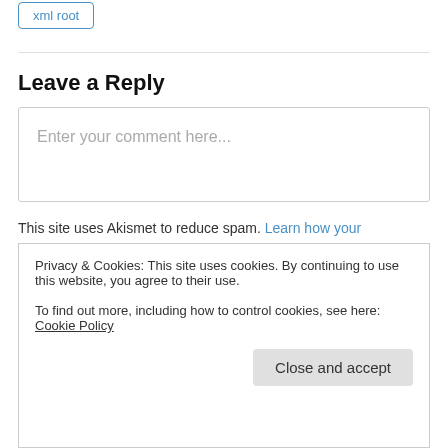xml root
Leave a Reply
Enter your comment here...
This site uses Akismet to reduce spam. Learn how your
Privacy & Cookies: This site uses cookies. By continuing to use this website, you agree to their use.
To find out more, including how to control cookies, see here: Cookie Policy
Close and accept